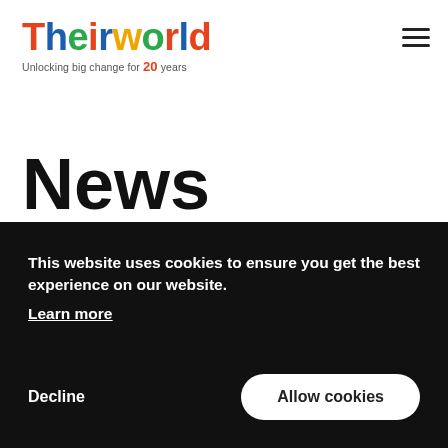[Figure (logo): Theirworld logo with multicolor letters and tagline 'Unlocking big change for 20 years']
News
This website uses cookies to ensure you get the best experience on our website. Learn more
Decline   Allow cookies